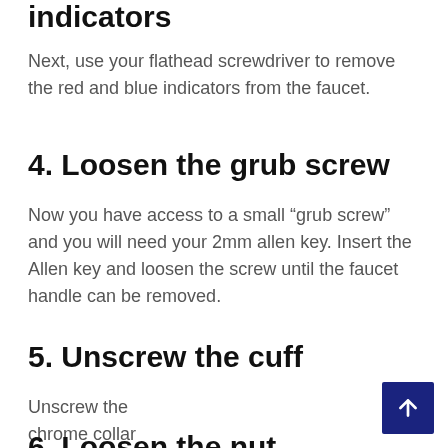indicators
Next, use your flathead screwdriver to remove the red and blue indicators from the faucet.
4. Loosen the grub screw
Now you have access to a small “grub screw” and you will need your 2mm allen key. Insert the Allen key and loosen the screw until the faucet handle can be removed.
5. Unscrew the cuff
Unscrew the chrome collar on the faucet to reveal a large nut.
6. Loosen the nut